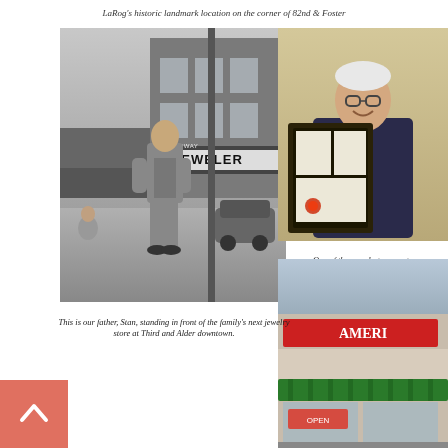LaRog's historic landmark location on the corner of 82nd & Foster
[Figure (photo): Black and white vintage photograph of a man (Stan) standing in front of a jewelry store sign reading 'JEWELER' at Third and Alder downtown]
[Figure (photo): Color photograph of an elderly man smiling, holding a framed award/document]
One of the proudest moments: LaRog received the
This is our father, Stan, standing in front of the family's next jewelry store at Third and Alder downtown.
[Figure (photo): Color photograph of a commercial storefront with a striped awning and signage]